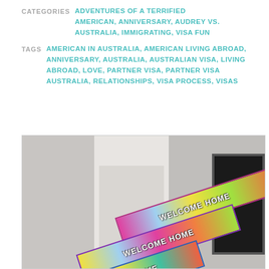CATEGORIES  ADVENTURES OF A TERRIFIED AMERICAN, ANNIVERSARY, AUDREY VS. AUSTRALIA, IMMIGRATING, VISA FUN
TAGS  AMERICAN IN AUSTRALIA, AMERICAN LIVING ABROAD, ANNIVERSARY, AUSTRALIA, AUSTRALIAN VISA, LIVING ABROAD, LOVE, PARTNER VISA, PARTNER VISA AUSTRALIA, RELATIONSHIPS, VISA PROCESS, VISAS
[Figure (photo): Photo of two or three colorful 'WELCOME HOME' party banners stacked diagonally on top of a white door frame, against a light gray wall. A dark framed picture is partially visible on the right side.]